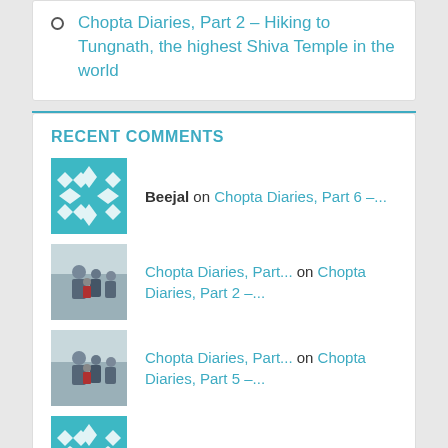Chopta Diaries, Part 2 – Hiking to Tungnath, the highest Shiva Temple in the world
RECENT COMMENTS
Beejal on Chopta Diaries, Part 6 –...
Chopta Diaries, Part... on Chopta Diaries, Part 2 –...
Chopta Diaries, Part... on Chopta Diaries, Part 5 –...
Beejal on Chopta Diaries, Part 5 –...